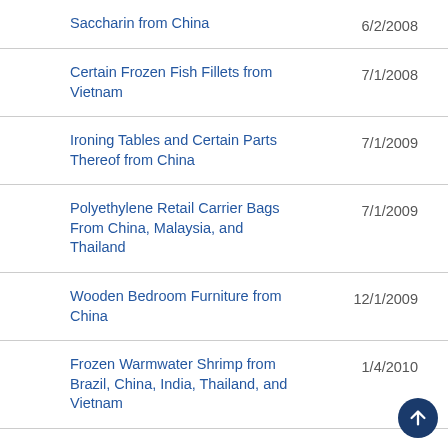| Product | Date |
| --- | --- |
| Saccharin from China | 6/2/2008 |
| Certain Frozen Fish Fillets from Vietnam | 7/1/2008 |
| Ironing Tables and Certain Parts Thereof from China | 7/1/2009 |
| Polyethylene Retail Carrier Bags From China, Malaysia, and Thailand | 7/1/2009 |
| Wooden Bedroom Furniture from China | 12/1/2009 |
| Frozen Warmwater Shrimp from Brazil, China, India, Thailand, and Vietnam | 1/4/2010 |